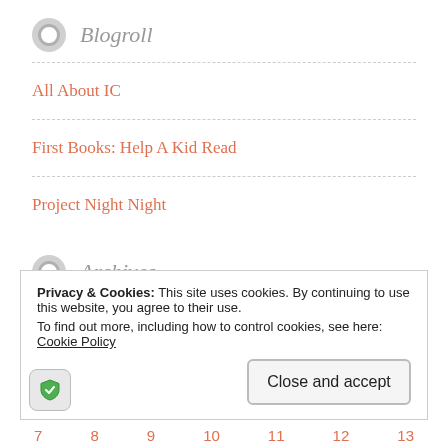Blogroll
All About IC
First Books: Help A Kid Read
Project Night Night
Archives
Select Month (dropdown)
Privacy & Cookies: This site uses cookies. By continuing to use this website, you agree to their use.
To find out more, including how to control cookies, see here: Cookie Policy
Close and accept
7  8  9  10  11  12  13